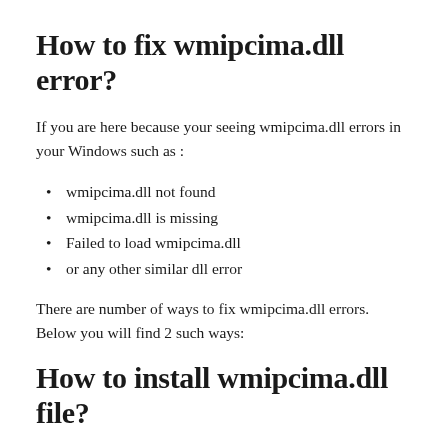How to fix wmipcima.dll error?
If you are here because your seeing wmipcima.dll errors in your Windows such as :
wmipcima.dll not found
wmipcima.dll is missing
Failed to load wmipcima.dll
or any other similar dll error
There are number of ways to fix wmipcima.dll errors. Below you will find 2 such ways:
How to install wmipcima.dll file?
Where do I put wmipcima.dll file? Download wmipcima.dll and copy it to the application's installation folder